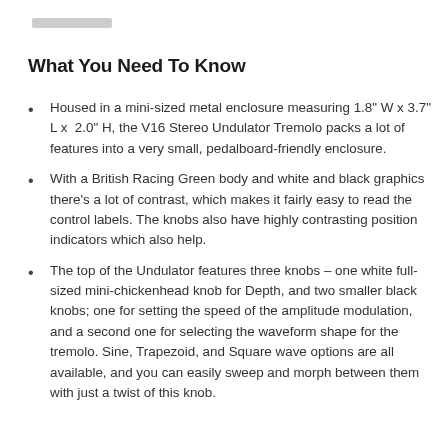What You Need To Know
Housed in a mini-sized metal enclosure measuring 1.8" W x 3.7" L x  2.0" H, the V16 Stereo Undulator Tremolo packs a lot of features into a very small, pedalboard-friendly enclosure.
With a British Racing Green body and white and black graphics there's a lot of contrast, which makes it fairly easy to read the control labels. The knobs also have highly contrasting position indicators which also help.
The top of the Undulator features three knobs – one white full-sized mini-chickenhead knob for Depth, and two smaller black knobs; one for setting the speed of the amplitude modulation, and a second one for selecting the waveform shape for the tremolo. Sine, Trapezoid, and Square wave options are all available, and you can easily sweep and morph between them with just a twist of this knob.